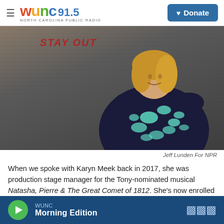WUNC 91.5 NORTH CAROLINA PUBLIC RADIO | Donate
[Figure (photo): Woman with blonde hair smiling, wearing a black and teal floral dress, standing in front of a wall with 'STAY OUT' written in red in the background]
Jeff Lunden For NPR
When we spoke with Karyn Meek back in 2017, she was production stage manager for the Tony-nominated musical Natasha, Pierre & The Great Comet of 1812. She's now enrolled in online grad school. Meek says as a stage manager she's used to solving problems before they arise. The
WUNC Morning Edition